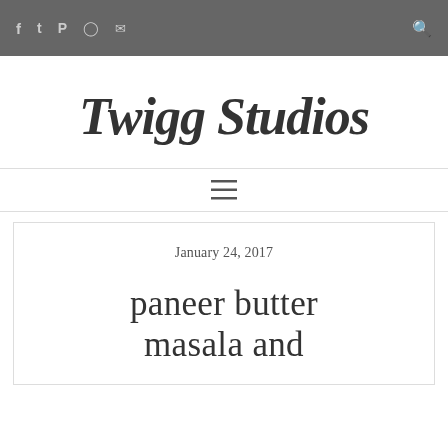f  t  P  ◻  ✉  🔍
[Figure (logo): Twigg Studios handwritten-style logo in dark gray italic script]
≡
January 24, 2017
paneer butter masala and